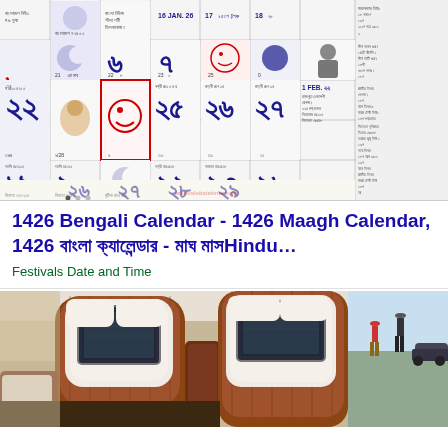[Figure (photo): Bengali calendar image showing 1426 Maagh calendar with Bengali numerals, dates in January-February, icons including faces and symbols, and a right-side panel with text listings]
1426 Bengali Calendar - 1426 Maagh Calendar, 1426 বাংলা ক্যালেন্ডার - মাঘ মাসHindu...
Festivals Date and Time
[Figure (photo): Luxury car interior showing two front seats with wood-grain and white leather upholstery, rear-seat entertainment screens mounted on headrests, dashboard visible, and outdoor scene visible through car window]